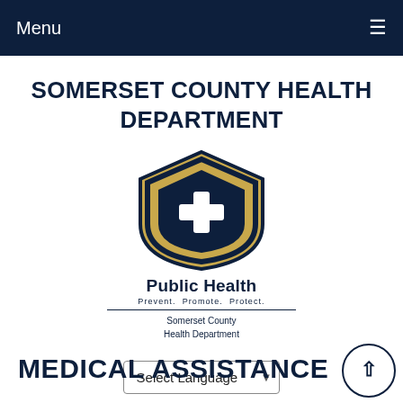Menu
SOMERSET COUNTY HEALTH DEPARTMENT
[Figure (logo): Somerset County Health Department Public Health shield logo with cross symbol. Text reads: Public Health, Prevent. Promote. Protect., Somerset County Health Department]
Select Language
MEDICAL ASSISTANCE